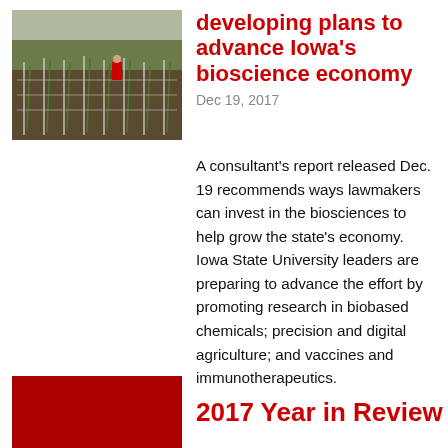[Figure (photo): A person in red standing among rows of young corn plants with white stake supports in a field.]
developing plans to advance Iowa's bioscience economy
Dec 19, 2017
A consultant's report released Dec. 19 recommends ways lawmakers can invest in the biosciences to help grow the state's economy. Iowa State University leaders are preparing to advance the effort by promoting research in biobased chemicals; precision and digital agriculture; and vaccines and immunotherapeutics.
[Figure (illustration): Solid dark red rectangle used as a decorative image placeholder for the 2017 Year in Review entry.]
2017 Year in Review